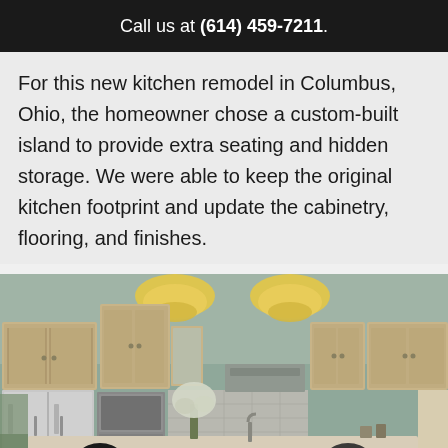Call us at (614) 459-7211.
For this new kitchen remodel in Columbus, Ohio, the homeowner chose a custom-built island to provide extra seating and hidden storage. We were able to keep the original kitchen footprint and update the cabinetry, flooring, and finishes.
[Figure (photo): Remodeled kitchen in Columbus, Ohio featuring a large custom-built painted island with panel detail, light wood upper cabinets, stainless steel refrigerator, tile backsplash, pendant lights, and floral centerpiece on island. Two dark circular UI buttons (chat and scroll-to-top) overlay the bottom corners of the photo.]